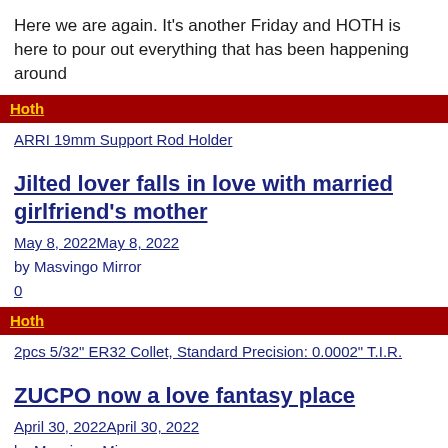Here we are again. It's another Friday and HOTH is here to pour out everything that has been happening around
Hoth
ARRI 19mm Support Rod Holder
Jilted lover falls in love with married girlfriend's mother
May 8, 2022May 8, 2022
by Masvingo Mirror
0
Hoth
2pcs 5/32" ER32 Collet, Standard Precision: 0.0002" T.I.R.
ZUCPO now a love fantasy place
April 30, 2022April 30, 2022
by Masvingo Mirror